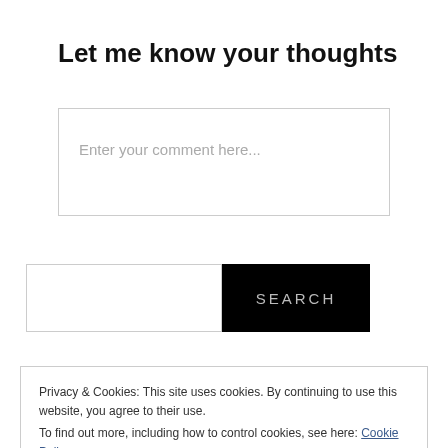Let me know your thoughts
[Figure (screenshot): Comment text input box with placeholder text 'Enter your comment here...']
[Figure (screenshot): Search bar with empty text input and a black SEARCH button]
Privacy & Cookies: This site uses cookies. By continuing to use this website, you agree to their use.
To find out more, including how to control cookies, see here: Cookie Policy
Close and accept